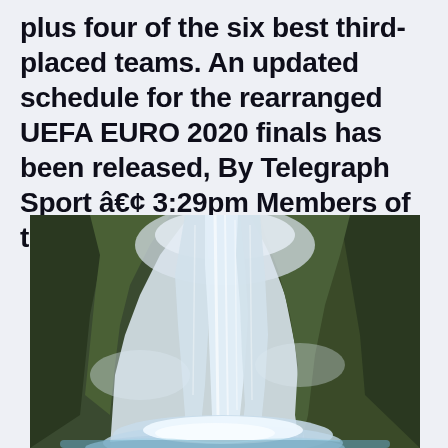The top two in each group qualify, plus four of the six best third-placed teams. An updated schedule for the rearranged UEFA EURO 2020 finals has been released, By Telegraph Sport â€¢ 3:29pm Members of the England
[Figure (photo): A tall waterfall cascading down rocky cliffs with mossy green rocks on either side and white churning water at the base, viewed from below looking up.]